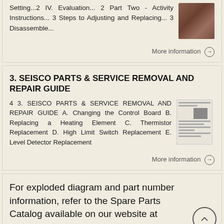Setting...2 IV. Evaluation... 2 Part Two - Activity Instructions... 3 Steps to Adjusting and Replacing... 3 Disassemble...
More information →
3. SEISCO PARTS & SERVICE REMOVAL AND REPAIR GUIDE
4 3. SEISCO PARTS & SERVICE REMOVAL AND REPAIR GUIDE A. Changing the Control Board B. Replacing a Heating Element C. Thermistor Replacement D. High Limit Switch Replacement E. Level Detector Replacement
More information →
For exploded diagram and part number information, refer to the Spare Parts Catalog available on our website at